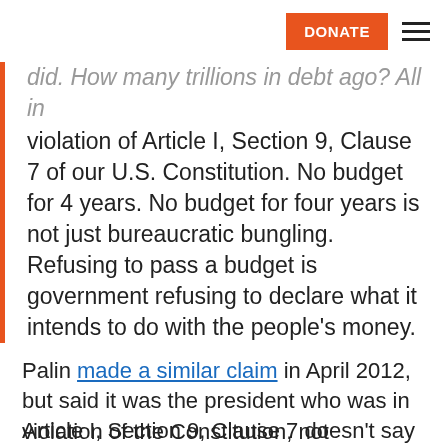DONATE [hamburger menu]
did. How many trillions in debt ago? All in violation of Article I, Section 9, Clause 7 of our U.S. Constitution. No budget for 4 years. No budget for four years is not just bureaucratic bungling. Refusing to pass a budget is government refusing to declare what it intends to do with the people's money.
Palin made a similar claim in April 2012, but said it was the president who was in violation of the Constitution, not Congress.
Article I, Section 9, Clause 7 doesn't say anything about a Senate budget resolution, which isn't